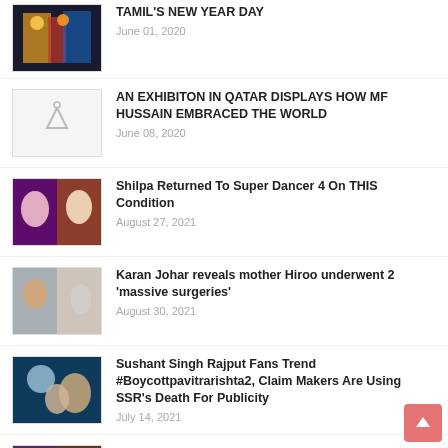TAMIL'S NEW YEAR DAY
AN EXHIBITON IN QATAR DISPLAYS HOW MF HUSSAIN EMBRACED THE WORLD
Shilpa Returned To Super Dancer 4 On THIS Condition
Karan Johar reveals mother Hiroo underwent 2 'massive surgeries'
Sushant Singh Rajput Fans Trend #Boycottpavitrarishta2, Claim Makers Are Using SSR's Death For Publicity
When Aishwarya Rai revealed how same things happened before Miss India and Miss World, called it 'ridiculous'